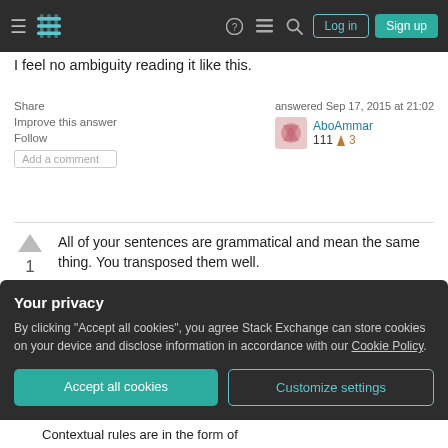Stack Exchange navigation header with Log in and Sign up buttons
I feel no ambiguity reading it like this.
Share   Improve this answer   Follow   Add a comment
answered Sep 17, 2015 at 21:02
AboAmmar  111  3
All of your sentences are grammatical and mean the same thing. You transposed them well.
I think the third option is the clearest.
Your privacy
By clicking "Accept all cookies", you agree Stack Exchange can store cookies on your device and disclose information in accordance with our Cookie Policy.
Accept all cookies   Customize settings
Contextual rules are in the form of